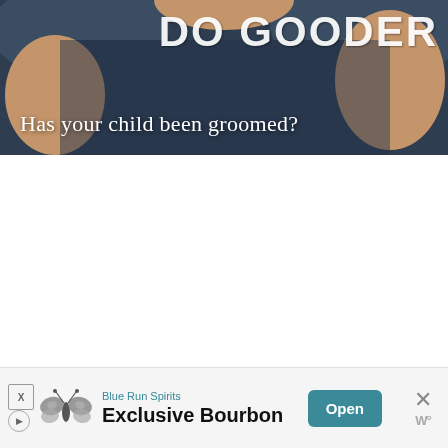[Figure (photo): Photo of a person wearing a dark navy t-shirt with 'DO GOODER' printed in large white bold letters. Overlaid text reads 'Has your child been groomed?' in white serif font.]
[Figure (infographic): Advertisement banner for Blue Run Spirits - Exclusive Bourbon, with a butterfly moth logo, teal 'Open' button, and close (X) button on the right.]